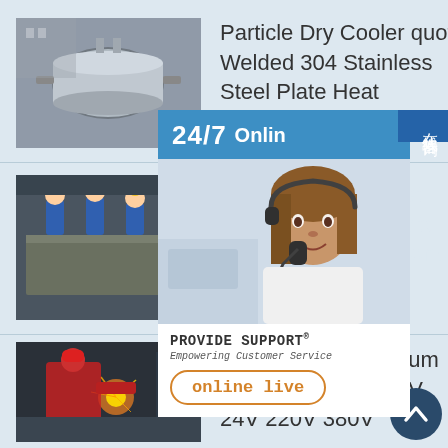[Figure (photo): Industrial pressure vessel / dry cooler equipment, metallic cylindrical tank outdoors]
Particle Dry Cooler quot Welded 304 Stainless Steel Plate Heat Exchanger quot
[Figure (photo): Workers in blue protective suits and yellow helmets working on large industrial plate]
Gasketed Plate Heat Exchanger for Bauxite to Alumina Applications
[Figure (photo): Worker in red helmet welding or cutting metal, industrial setting with sparks]
Customized Aluminum Heat Exchanger 12V 24V 220V 380V
[Figure (infographic): 24/7 Online support widget with customer service representative wearing headset, PROVIDE SUPPORT logo, online live button, and Chinese text sidebar '在线咨询']